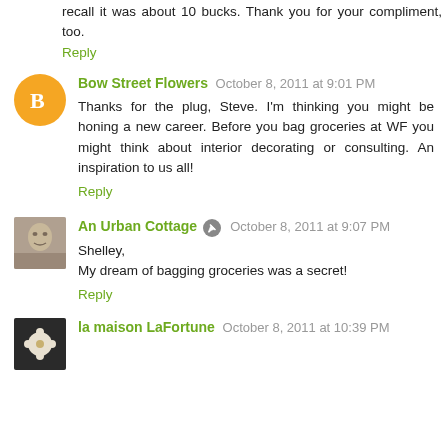recall it was about 10 bucks. Thank you for your compliment, too.
Reply
Bow Street Flowers  October 8, 2011 at 9:01 PM
Thanks for the plug, Steve. I'm thinking you might be honing a new career. Before you bag groceries at WF you might think about interior decorating or consulting. An inspiration to us all!
Reply
An Urban Cottage  October 8, 2011 at 9:07 PM
Shelley,
My dream of bagging groceries was a secret!
Reply
la maison LaFortune  October 8, 2011 at 10:39 PM